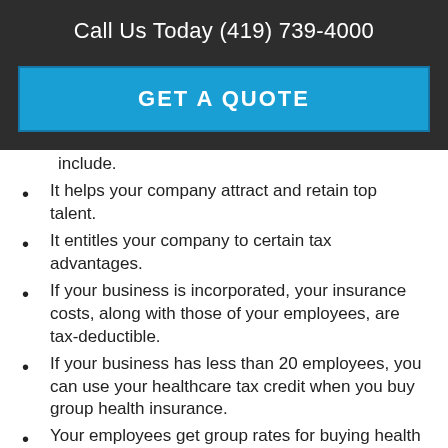Call Us Today (419) 739-4000
GET A QUOTE
include.
It helps your company attract and retain top talent.
It entitles your company to certain tax advantages.
If your business is incorporated, your insurance costs, along with those of your employees, are tax-deductible.
If your business has less than 20 employees, you can use your healthcare tax credit when you buy group health insurance.
Your employees get group rates for buying health insurance through your company, even if you are